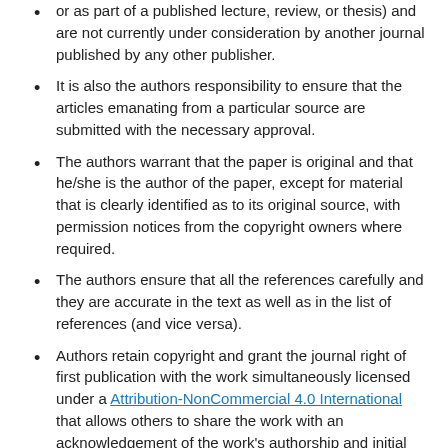or as part of a published lecture, review, or thesis) and are not currently under consideration by another journal published by any other publisher.
It is also the authors responsibility to ensure that the articles emanating from a particular source are submitted with the necessary approval.
The authors warrant that the paper is original and that he/she is the author of the paper, except for material that is clearly identified as to its original source, with permission notices from the copyright owners where required.
The authors ensure that all the references carefully and they are accurate in the text as well as in the list of references (and vice versa).
Authors retain copyright and grant the journal right of first publication with the work simultaneously licensed under a Attribution-NonCommercial 4.0 International that allows others to share the work with an acknowledgement of the work's authorship and initial publication in this journal.
Authors are able to enter into separate, additional contractual arrangements for the non-exclusive distribution of the journal's published version of the work (e.g., post it to an institutional repository or publish it in a book), with an acknowledgement of its initial publication in this journal.